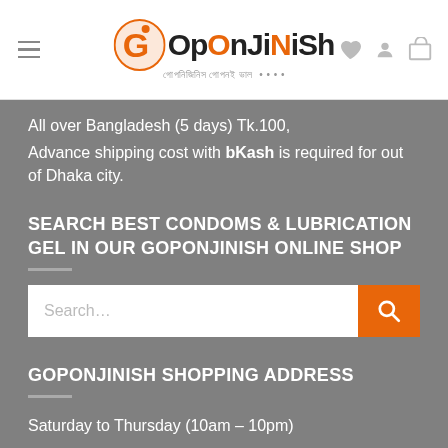GOpOnJiNiSh — গোপনিজিনিস গোপনই ভাল
All over Bangladesh (5 days) Tk.100, Advance shipping cost with bKash is required for out of Dhaka city.
SEARCH BEST CONDOMS & LUBRICATION GEL IN OUR GOPONJINISH ONLINE SHOP
[Figure (other): Search input box with orange search button containing a magnifying glass icon]
GOPONJINISH SHOPPING ADDRESS
Saturday to Thursday (10am – 10pm)